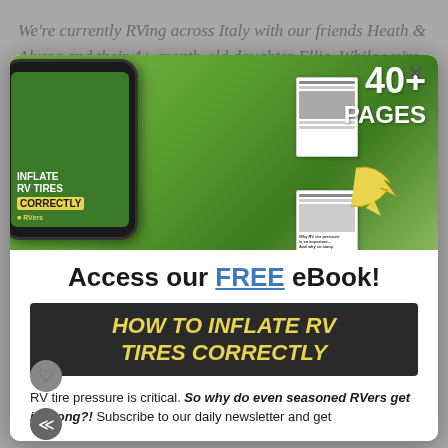We're currently RVing across Italy with our friends Heath & Alyssa and their 4+-month-old daughter Ellie. While we're away, there's been an important update to our upcoming show, T The Change is enabled to premiere Saturday mornings beginning November 1, the RVers will now air SUNDAY mornings at 9AM Eastern beginning November 17, 2019, six days ...
[Figure (photo): Modal popup over a blog page. The modal shows a smartphone displaying an eBook cover 'INFLATE RV TIRES CORRECTLY' with a yellow highlighted label. Next to it are mini previews of the eBook pages and a bold '40+ PAGES' label in white with a yellow arrow pointing to the pages. Background is green/nature themed.]
Access our FREE eBook!
HOW TO INFLATE RV TIRES CORRECTLY
RV tire pressure is critical. So why do even seasoned RVers get it wrong?! Subscribe to our daily newsletter and get